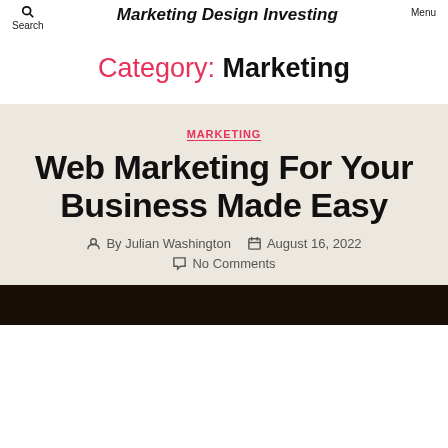Search | Marketing Design Investing | Menu
Category: Marketing
MARKETING
Web Marketing For Your Business Made Easy
By Julian Washington  August 16, 2022  No Comments
[Figure (photo): Dark-toned photograph strip at the bottom of the page]